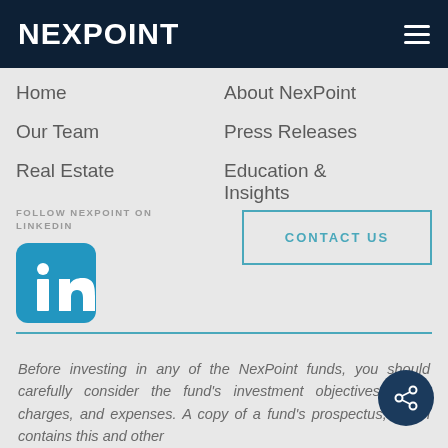NEXPOINT
Home
Our Team
Real Estate
About NexPoint
Press Releases
Education & Insights
FOLLOW NEXPOINT ON LINKEDIN
[Figure (logo): LinkedIn logo icon - blue rounded square with white 'in' text]
CONTACT US
Before investing in any of the NexPoint funds, you should carefully consider the fund's investment objectives, risks, charges, and expenses. A copy of a fund's prospectus, which contains this and other